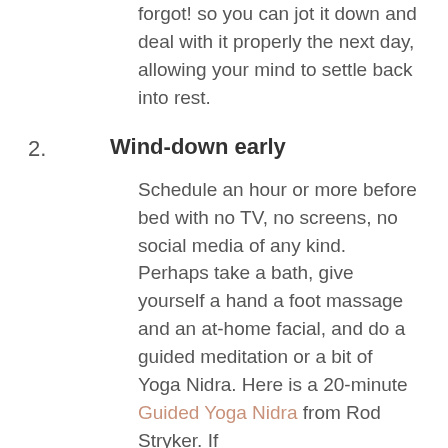forgot!  so you can jot it down and deal with it properly the next day, allowing your mind to settle back into rest.
2.  Wind-down early
Schedule an hour or more before bed with no TV, no screens, no social media of any kind.  Perhaps take a bath, give yourself a hand a foot massage and an at-home facial, and do a guided meditation or a bit of Yoga Nidra.  Here is a 20-minute Guided Yoga Nidra from Rod Stryker.  If